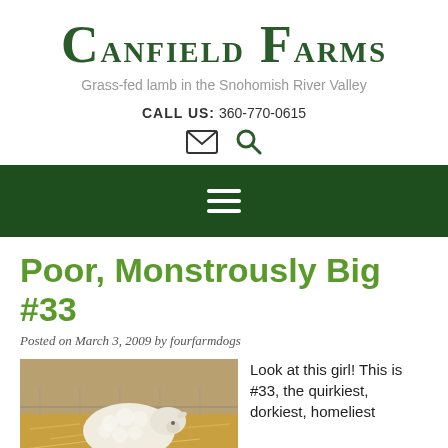Canfield Farms
Grass-fed lamb in the Snohomish River Valley
CALL US: 360-770-0615
[Figure (other): Email envelope icon and search magnifying glass icon]
[Figure (other): Dark green navigation bar with hamburger menu icon (three white horizontal lines)]
Poor, Monstrously Big #33
Posted on March 3, 2009 by fourfarmdogs
[Figure (photo): Photo of a large white lamb lying on hay/straw in a farm pen]
Look at this girl! This is #33, the quirkiest, dorkiest, homeliest